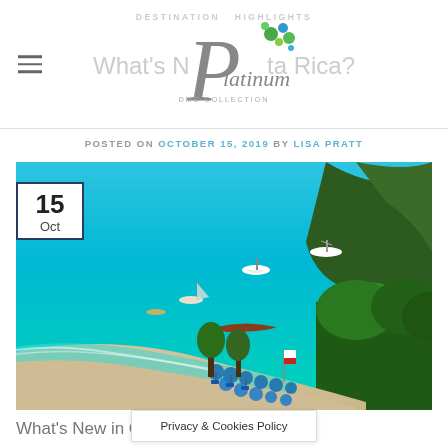DESTINATION HIGHLIGHTS — What's New in Costa Rica?
POSTED ON OCTOBER 15, 2019 BY LISA PRATT
[Figure (photo): Aerial view of a tropical beach in Costa Rica with turquoise water, boats anchored offshore, white sand beach, blue beach umbrellas and lounge chairs, and lush green palm trees along the shoreline. A date badge showing '15 Oct' is overlaid on the top-left corner.]
What's New in Costa Rica … pa, Playa
Privacy & Cookies Policy